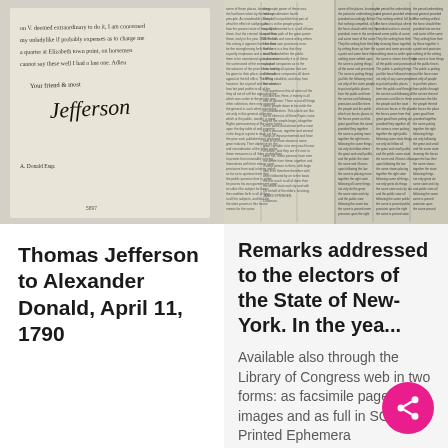[Figure (photo): Scanned image of handwritten letter signed by Thomas Jefferson, with cursive script text and signature 'Jefferson', dated document with handwritten address below]
Thomas Jefferson to Alexander Donald, April 11, 1790
[Figure (photo): Scanned image of a historical newspaper printed in multiple dense columns of small text, appears to be from late 18th century]
Remarks addressed to the electors of the State of New-York. In the yea...
Available also through the Library of Congress web in two forms: as facsimile page images and as full in SGML. Printed Ephemera